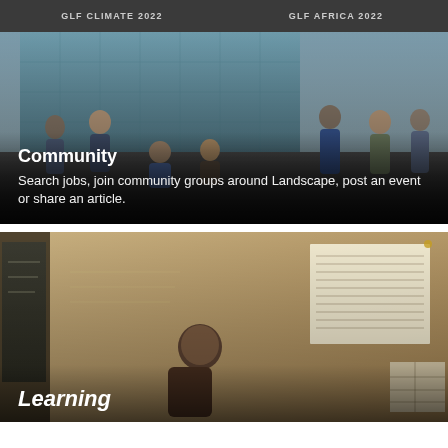GLF CLIMATE 2022 | GLF AFRICA 2022
[Figure (photo): Group of young people gathered outdoors in front of a modern glass building, sitting and standing, talking and socializing.]
Community
Search jobs, join community groups around Landscape, post an event or share an article.
[Figure (photo): A man sits in a classroom-like setting in front of a chalkboard and papers pinned to the wall, in what appears to be an African educational environment.]
Learning